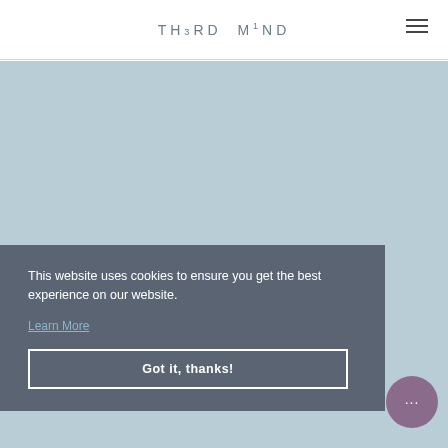TH3RD M1ND
[Figure (illustration): Light blue-grey background area filling the main content region below the header]
This website uses cookies to ensure you get the best experience on our website.
Learn More
Got it, thanks!